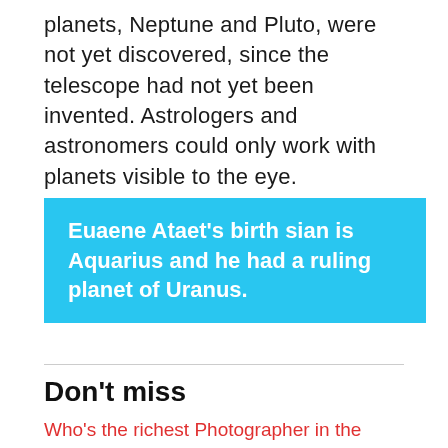planets, Neptune and Pluto, were not yet discovered, since the telescope had not yet been invented. Astrologers and astronomers could only work with planets visible to the eye.
Euaene Ataet’s birth sian is Aquarius and he had a ruling planet of Uranus.
Don’t miss
Who’s the richest Photographer in the world?
Who are the richest people in the world?